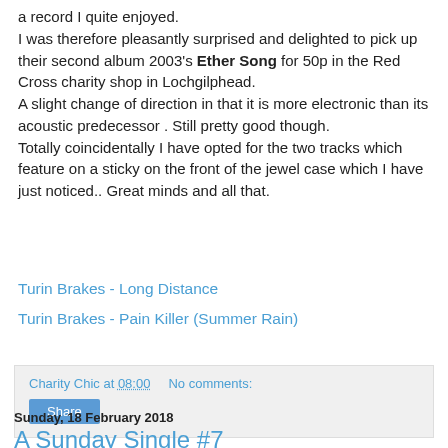a record I quite enjoyed.
I was therefore pleasantly surprised and delighted to pick up their second album 2003's Ether Song for 50p in the Red Cross charity shop in Lochgilphead.
A slight change of direction in that it is more electronic than its acoustic predecessor . Still pretty good though.
Totally coincidentally I have opted for the two tracks which feature on a sticky on the front of the jewel case which I have just noticed.. Great minds and all that.
Turin Brakes - Long Distance
Turin Brakes - Pain Killer (Summer Rain)
Charity Chic at 08:00   No comments:
Share
Sunday, 18 February 2018
A Sunday Single #7